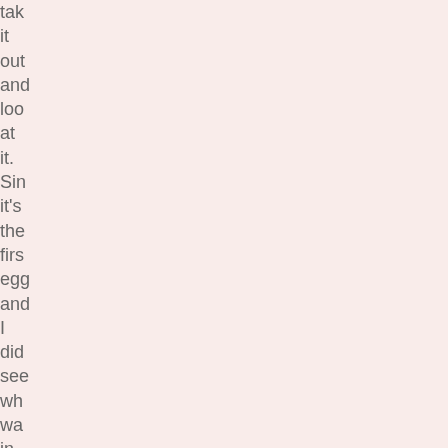tak it out and loo at it. Sin it's the firs egg and I did see wh wa in the nes box I